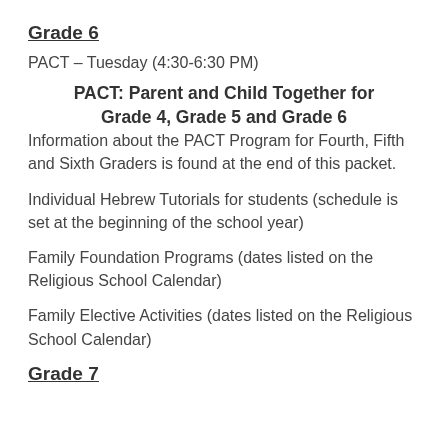Grade 6
PACT – Tuesday (4:30-6:30 PM)
PACT: Parent and Child Together for Grade 4, Grade 5 and Grade 6
Information about the PACT Program for Fourth, Fifth and Sixth Graders is found at the end of this packet.
Individual Hebrew Tutorials for students (schedule is set at the beginning of the school year)
Family Foundation Programs (dates listed on the Religious School Calendar)
Family Elective Activities (dates listed on the Religious School Calendar)
Grade 7